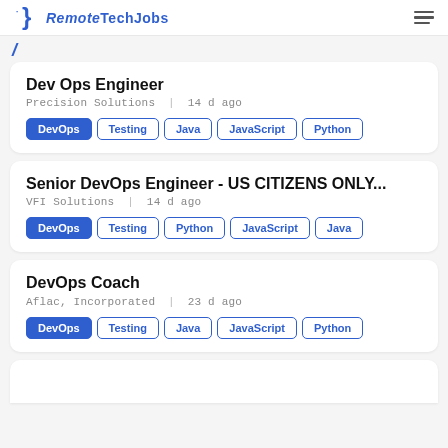RemoteTechJobs
Dev Ops Engineer | Precision Solutions | 14 d ago | Tags: DevOps, Testing, Java, JavaScript, Python
Senior DevOps Engineer - US CITIZENS ONLY... | VFI Solutions | 14 d ago | Tags: DevOps, Testing, Python, JavaScript, Java
DevOps Coach | Aflac, Incorporated | 23 d ago | Tags: DevOps, Testing, Java, JavaScript, Python